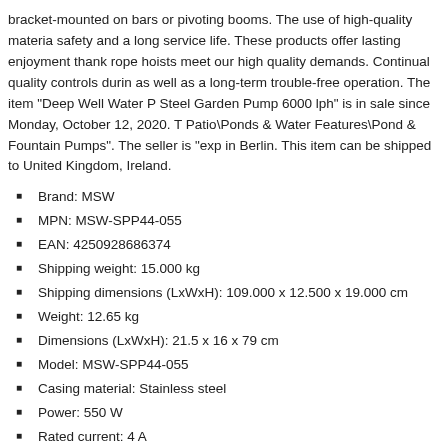bracket-mounted on bars or pivoting booms. The use of high-quality materials ensures safety and a long service life. These products offer lasting enjoyment thanks to… rope hoists meet our high quality demands. Continual quality controls during… as well as a long-term trouble-free operation. The item "Deep Well Water Pump Stainless Steel Garden Pump 6000 lph" is in sale since Monday, October 12, 2020. The category is "Patio\Ponds & Water Features\Pond & Fountain Pumps". The seller is "exp…" and is located in Berlin. This item can be shipped to United Kingdom, Ireland.
Brand: MSW
MPN: MSW-SPP44-055
EAN: 4250928686374
Shipping weight: 15.000 kg
Shipping dimensions (LxWxH): 109.000 x 12.500 x 19.000 cm
Weight: 12.65 kg
Dimensions (LxWxH): 21.5 x 16 x 79 cm
Model: MSW-SPP44-055
Casing material: Stainless steel
Power: 550 W
Rated current: 4 A
Rated input Voltage / Frequency: 230 V / 50 Hz
Engine speed: 2.850 U / min
Protection class: I